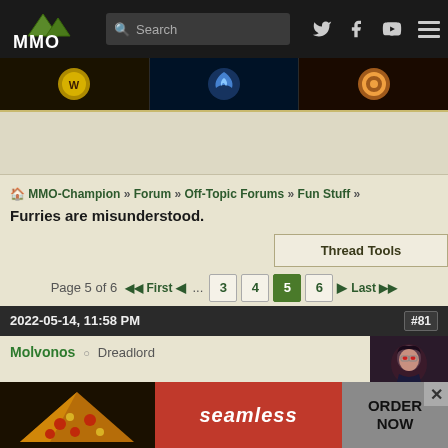MMO Champion - Search - Twitter - Facebook - YouTube - Menu
[Figure (logo): MMO-Champion logo with mountain icon]
[Figure (infographic): Game tabs: World of Warcraft, Heroes of the Storm (blue swirl), Overwatch icons]
[Figure (other): Advertisement area (blank)]
MMO-Champion » Forum » Off-Topic Forums » Fun Stuff » Furries are misunderstood.
Thread Tools
Page 5 of 6  «First  «  ...  3  4  5  6  »  Last »
2022-05-14, 11:58 PM  #81
Molvonos  Dreadlord
[Figure (photo): Avatar of Molvonos - dark female character with red eyes]
[Figure (other): Seamless food delivery advertisement banner: pizza image, seamless logo, ORDER NOW button]